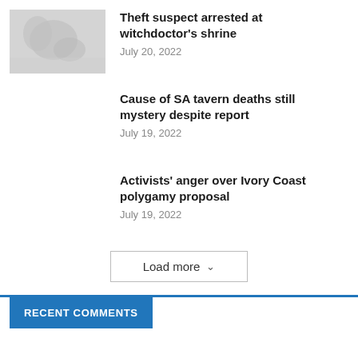[Figure (photo): Thumbnail photo (grayscale/light) for theft suspect article]
Theft suspect arrested at witchdoctor's shrine
July 20, 2022
Cause of SA tavern deaths still mystery despite report
July 19, 2022
Activists' anger over Ivory Coast polygamy proposal
July 19, 2022
Load more
RECENT COMMENTS